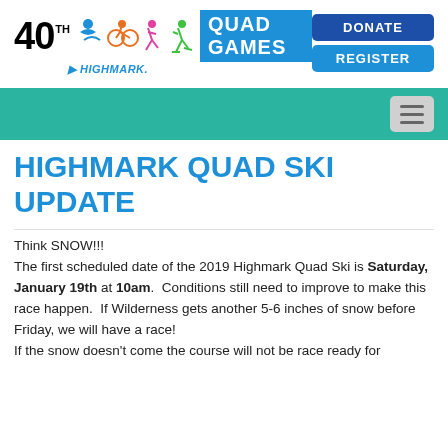[Figure (logo): 40th Quad Games logo with sport icons (swimmer, cyclist, runner, skier) and Highmark sponsor text, alongside DONATE and REGISTER buttons]
[Figure (other): Teal/green navigation bar with hamburger menu icon on the right]
HIGHMARK QUAD SKI UPDATE
Think SNOW!!!
The first scheduled date of the 2019 Highmark Quad Ski is Saturday, January 19th at 10am.  Conditions still need to improve to make this race happen.  If Wilderness gets another 5-6 inches of snow before Friday, we will have a race!
If the snow doesn't come the course will not be race ready for